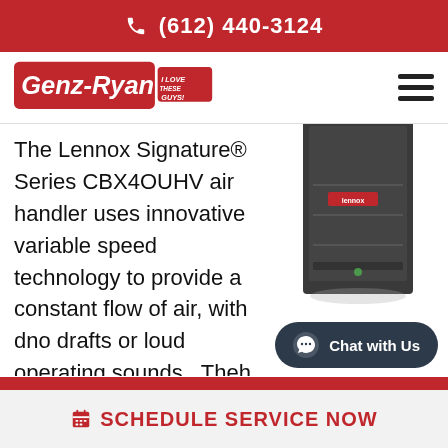(612) 440-3124
[Figure (logo): Genz-Ryan 'I Love These Guys!' logo]
The Lennox Signature® Series CBX4OUHV air handler uses innovative variable speed technology to provide a constant flow of air, with dno drafts or loud operating sounds.  Theh same technology that improves air circulation
[Figure (photo): Lennox Signature Series CBX4OUHV air handler unit, dark gray vertical cabinet]
[Figure (other): Chat with Us button overlay]
SCHEDULE SERVICE NOW